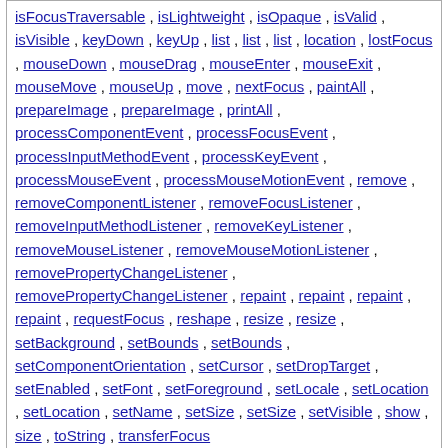isFocusTraversable , isLightweight , isOpaque , isValid , isVisible , keyDown , keyUp , list , list , list , location , lostFocus , mouseDown , mouseDrag , mouseEnter , mouseExit , mouseMove , mouseUp , move , nextFocus , paintAll , prepareImage , prepareImage , printAll , processComponentEvent , processFocusEvent , processInputMethodEvent , processKeyEvent , processMouseEvent , processMouseMotionEvent , remove , removeComponentListener , removeFocusListener , removeInputMethodListener , removeKeyListener , removeMouseListener , removeMouseMotionListener , removePropertyChangeListener , removePropertyChangeListener , repaint , repaint , repaint , repaint , requestFocus , reshape , resize , resize , setBackground , setBounds , setBounds , setComponentOrientation , setCursor , setDropTarget , setEnabled , setFont , setForeground , setLocale , setLocation , setLocation , setName , setSize , setSize , setVisible , show , size , toString , transferFocus
| Methods inherited from class java.lang.Object |
| --- |
| clone , equals , finalize , getClass , hashCode , notify , notifyAll , wait , wait , wait |